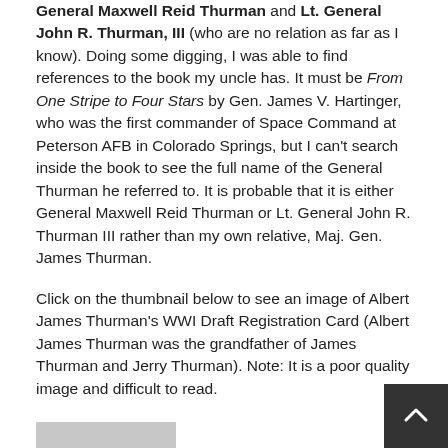General Maxwell Reid Thurman and Lt. General John R. Thurman, III (who are no relation as far as I know). Doing some digging, I was able to find references to the book my uncle has. It must be From One Stripe to Four Stars by Gen. James V. Hartinger, who was the first commander of Space Command at Peterson AFB in Colorado Springs, but I can't search inside the book to see the full name of the General Thurman he referred to. It is probable that it is either General Maxwell Reid Thurman or Lt. General John R. Thurman III rather than my own relative, Maj. Gen. James Thurman.
Click on the thumbnail below to see an image of Albert James Thurman's WWI Draft Registration Card (Albert James Thurman was the grandfather of James Thurman and Jerry Thurman). Note: It is a poor quality image and difficult to read.
[Figure (photo): Thumbnail image preview of Albert James Thurman's WWI Draft Registration Card (partially visible at bottom of page)]